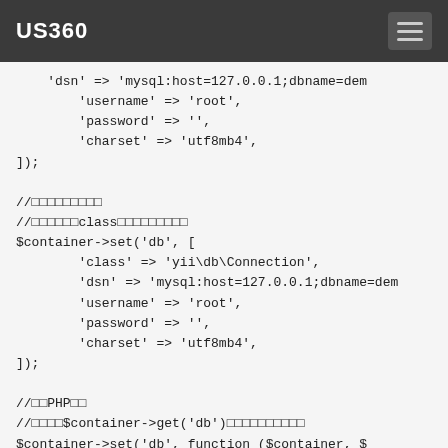US360
'dsn' => 'mysql:host=127.0.0.1;dbname=dem
        'username' => 'root',
        'password' => '',
        'charset' => 'utf8mb4',
]);

//□□□□□□□□□
//□□□□□□class□□□□□□□□□
$container->set('db', [
        'class' => 'yii\db\Connection',
        'dsn' => 'mysql:host=127.0.0.1;dbname=dem
        'username' => 'root',
        'password' => '',
        'charset' => 'utf8mb4',
]);

//□□PHP□□
//□□□□$container->get('db')□□□□□□□□□□
$container->set('db', function ($container, $